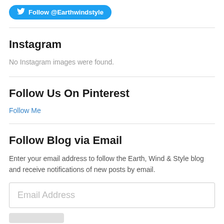[Figure (other): Twitter Follow button with bird icon, blue rounded rectangle, text: Follow @Earthwindstyle]
Instagram
No Instagram images were found.
Follow Us On Pinterest
Follow Me
Follow Blog via Email
Enter your email address to follow the Earth, Wind & Style blog and receive notifications of new posts by email.
Email Address